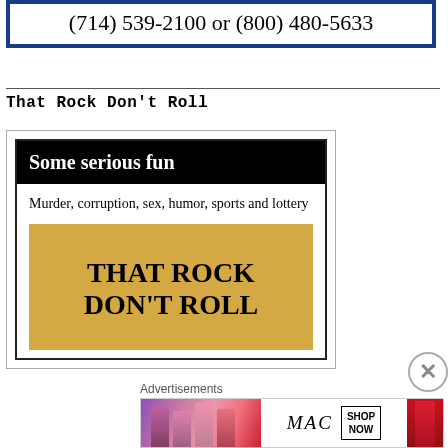(714) 539-2100 or (800) 480-5633
That Rock Don’t Roll
[Figure (illustration): Book advertisement for 'That Rock Don't Roll' featuring a black header band with white text 'Some serious fun', subtitle 'Murder, corruption, sex, humor, sports and lottery', and a gold/tan book cover with bold black text 'THAT ROCK DON'T ROLL']
Advertisements
[Figure (illustration): MAC cosmetics advertisement showing lipstick products in pink and purple shades with MAC logo and 'SHOP NOW' call to action button]